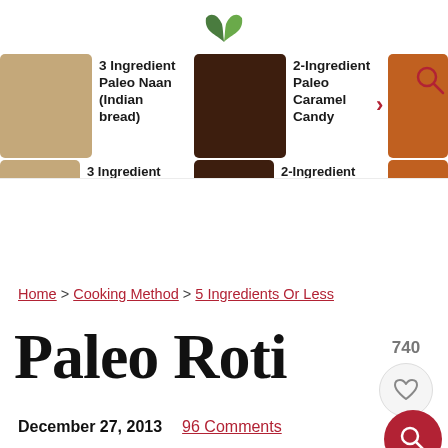[Figure (screenshot): Navigation carousel showing recipe thumbnails: 3 Ingredient Paleo Naan (Indian bread), 2-Ingredient Paleo Caramel Candy, Paleo Pumpkin Hummus, with green leaf logo at top and search/arrow icons]
Home > Cooking Method > 5 Ingredients Or Less
Paleo Roti
December 27, 2013   96 Comments
Jump to Recipe